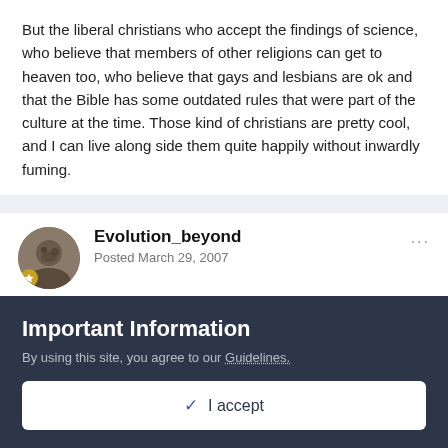But the liberal christians who accept the findings of science, who believe that members of other religions can get to heaven too, who believe that gays and lesbians are ok and that the Bible has some outdated rules that were part of the culture at the time. Those kind of christians are pretty cool, and I can live along side them quite happily without inwardly fuming.
Evolution_beyond
Posted March 29, 2007
Varokhar said:
I think what you call "fanatic" Xianity is also the genuine
Important Information
By using this site, you agree to our Guidelines.
✓ I accept